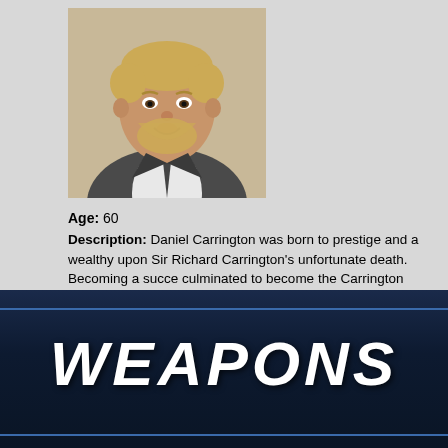[Figure (illustration): 3D rendered portrait of Daniel Carrington, a heavyset older man with blonde/grey hair and beard, wearing a white shirt and dark tie with a grey jacket, against a tan/beige background]
Age: 60
Description: Daniel Carrington was born to prestige and a wealthy upon Sir Richard Carrington's unfortunate death. Becoming a succe culminated to become the Carrington Institute - Daniel's cutting-edg technology, Daniel enjoys a firm presence on the market, but his su dataDyne. Carrington's pursuit of technology to improve and enhan
[Figure (infographic): Dark navy blue banner with the word WEAPONS in large bold white italic letters, with blue horizontal lines above and below]